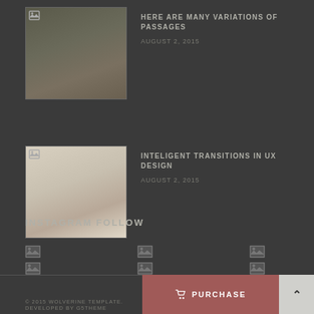[Figure (photo): Thumbnail photo of outdoor kitchen/cooking area]
HERE ARE MANY VARIATIONS OF PASSAGES
AUGUST 2, 2015
[Figure (photo): Thumbnail photo of stationery/branding items on white surface]
INTELIGENT TRANSITIONS IN UX DESIGN
AUGUST 2, 2015
INSTAGRAM FOLLOW
[Figure (photo): Instagram grid photos (broken image icons)]
View more photos
© 2015 WOLVERINE TEMPLATE. DEVELOPED BY G5THEME
PURCHASE